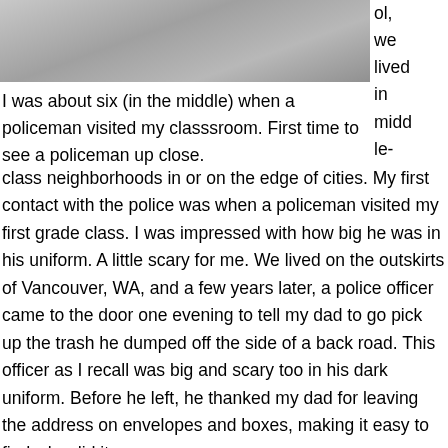[Figure (photo): Black and white photograph, partially visible at top of page, showing people (image is cropped).]
I was about six (in the middle) when a policeman visited my classsroom. First time to see a policeman up close.
ol, we lived in middle-class neighborhoods in or on the edge of cities. My first contact with the police was when a policeman visited my first grade class. I was impressed with how big he was in his uniform. A little scary for me. We lived on the outskirts of Vancouver, WA, and a few years later, a police officer came to the door one evening to tell my dad to go pick up the trash he dumped off the side of a back road. This officer as I recall was big and scary too in his dark uniform. Before he left, he thanked my dad for leaving the address on envelopes and boxes, making it easy to find who did it.